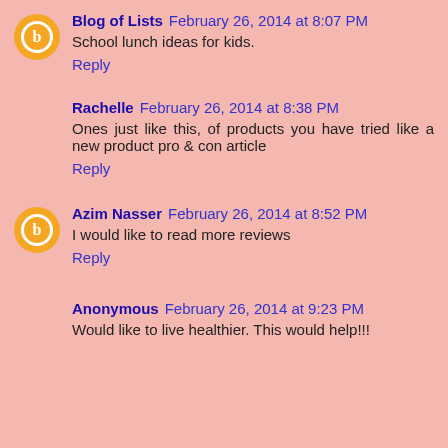Blog of Lists  February 26, 2014 at 8:07 PM
School lunch ideas for kids.
Reply
Rachelle  February 26, 2014 at 8:38 PM
Ones just like this, of products you have tried like a new product pro & con article
Reply
Azim Nasser  February 26, 2014 at 8:52 PM
I would like to read more reviews
Reply
Anonymous  February 26, 2014 at 9:23 PM
Would like to live healthier. This would help!!!